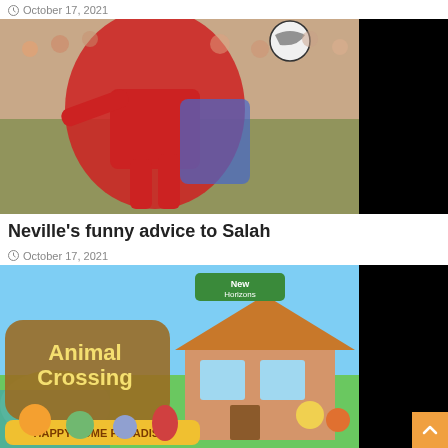October 17, 2021
[Figure (photo): Soccer player in red Liverpool jersey jumping for a ball, with opponent in blue jersey, crowd in background. Right portion of image blacked out.]
Neville's funny advice to Salah
October 17, 2021
[Figure (photo): Animal Crossing: New Horizons - Happy Home Paradise game artwork showing colorful cartoon characters and a house. Right portion of image blacked out.]
New Horizons thought of designers with the Happy Home